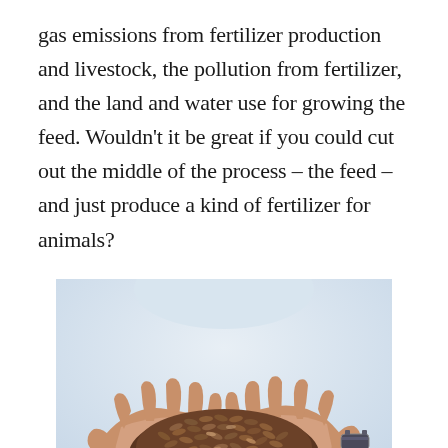gas emissions from fertilizer production and livestock, the pollution from fertilizer, and the land and water use for growing the feed. Wouldn't it be great if you could cut out the middle of the process – the feed – and just produce a kind of fertilizer for animals?
[Figure (photo): Hands cupping a pile of brown animal feed pellets, with a watch visible on the right wrist. Light blue/white blurred background.]